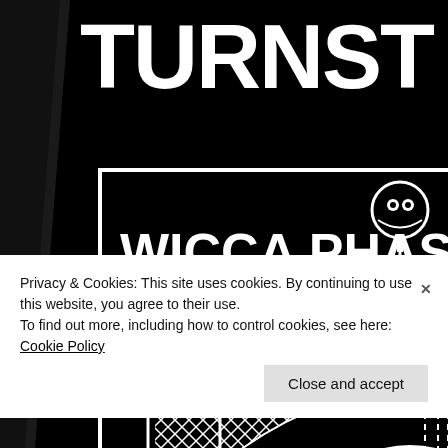[Figure (illustration): Black and white concert/event poster showing text 'TURNST' (cropped) at top in large bold white letters on black background, with a white-bordered rectangle containing bold white text 'WICCA PHASE SPRINGS ETERNAL', and below that a decorative graphic with lattice/net pattern and abstract shapes. On the right side, a white illustration of a skeleton figure. Dark diagonal stripe on the far left.]
Privacy & Cookies: This site uses cookies. By continuing to use this website, you agree to their use.
To find out more, including how to control cookies, see here: Cookie Policy
Close and accept